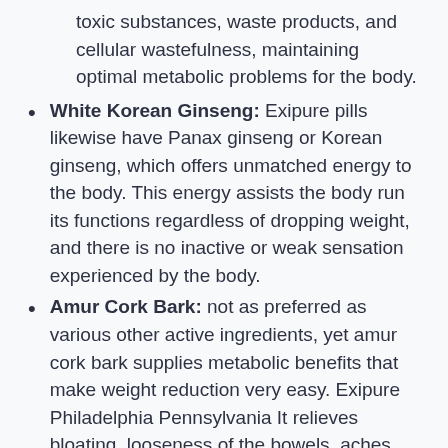toxic substances, waste products, and cellular wastefulness, maintaining optimal metabolic problems for the body.
White Korean Ginseng: Exipure pills likewise have Panax ginseng or Korean ginseng, which offers unmatched energy to the body. This energy assists the body run its functions regardless of dropping weight, and there is no inactive or weak sensation experienced by the body.
Amur Cork Bark: not as preferred as various other active ingredients, yet amur cork bark supplies metabolic benefits that make weight reduction very easy. Exipure Philadelphia Pennsylvania It relieves bloating, looseness of the bowels, aches, nausea or vomiting,